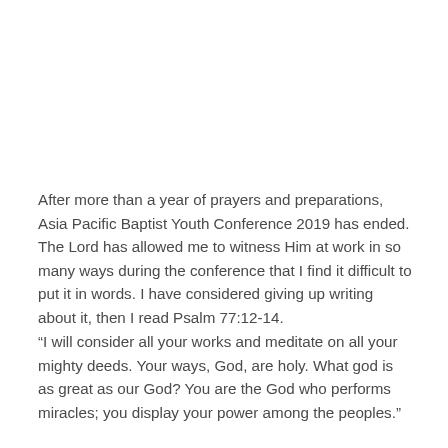After more than a year of prayers and preparations, Asia Pacific Baptist Youth Conference 2019 has ended. The Lord has allowed me to witness Him at work in so many ways during the conference that I find it difficult to put it in words. I have considered giving up writing about it, then I read Psalm 77:12-14.
“I will consider all your works and meditate on all your mighty deeds. Your ways, God, are holy. What god is as great as our God? You are the God who performs miracles; you display your power among the peoples.”